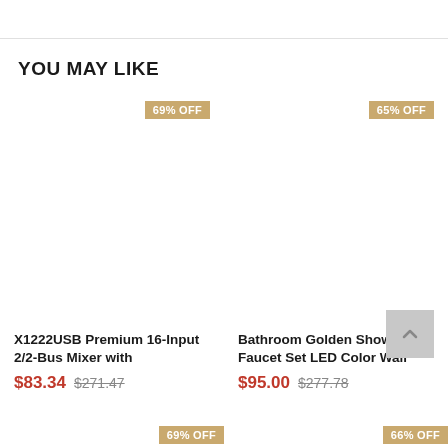YOU MAY LIKE
[Figure (screenshot): Product card 1: 69% OFF badge, blank product image area, title 'X1222USB Premium 16-Input 2/2-Bus Mixer with', sale price $83.34, original price $271.47]
[Figure (screenshot): Product card 2: 65% OFF badge, blank product image area, title 'Bathroom Golden Shower Faucet Set LED Color Wall', sale price $95.00, original price $277.78]
69% OFF (bottom badge, card 1)
66% OFF (bottom badge, card 2)